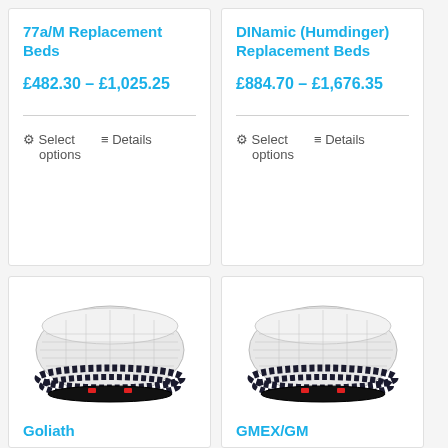77a/M Replacement Beds
£482.30 – £1,025.25
Select options   Details
DINamic (Humdinger) Replacement Beds
£884.70 – £1,676.35
Select options   Details
[Figure (photo): Folded white mesh replacement bed with black bobble edging and red clips at base, shown from an angle]
Goliath
[Figure (photo): Folded white mesh replacement bed with black bobble edging and red clips at base, shown from an angle, similar to the Goliath product]
GMEX/GM